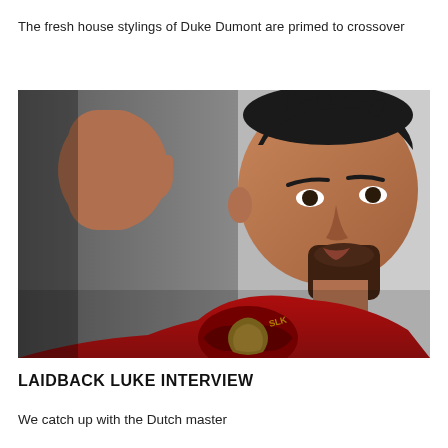The fresh house stylings of Duke Dumont are primed to crossover
[Figure (photo): Portrait photo of Laidback Luke, a man wearing a red t-shirt with a graphic print, his hand raised behind his head, looking slightly downward, set against a grey background.]
LAIDBACK LUKE INTERVIEW
We catch up with the Dutch master